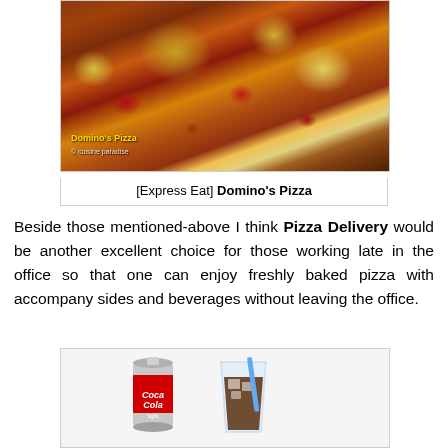[Figure (photo): Close-up photo of a Domino's Pizza with pepperoni, sausage, cheese and various toppings on a pizza crust. Yellow text watermark 'Domino's Pizza' and grey credit text visible at bottom left.]
[Express Eat] Domino's Pizza
Beside those mentioned-above I think Pizza Delivery would be another excellent choice for those working late in the office so that one can enjoy freshly baked pizza with accompany sides and beverages without leaving the office.
[Figure (photo): Photo of a Coca-Cola can beside a glass of cola with ice and a blue straw.]